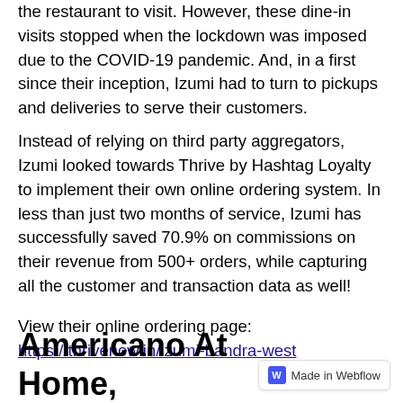the restaurant to visit. However, these dine-in visits stopped when the lockdown was imposed due to the COVID-19 pandemic. And, in a first since their inception, Izumi had to turn to pickups and deliveries to serve their customers.
Instead of relying on third party aggregators, Izumi looked towards Thrive by Hashtag Loyalty to implement their own online ordering system. In less than just two months of service, Izumi has successfully saved 70.9% on commissions on their revenue from 500+ orders, while capturing all the customer and transaction data as well!
View their online ordering page:
https://thrivenow.in/izumi-bandra-west
Americano At Home,